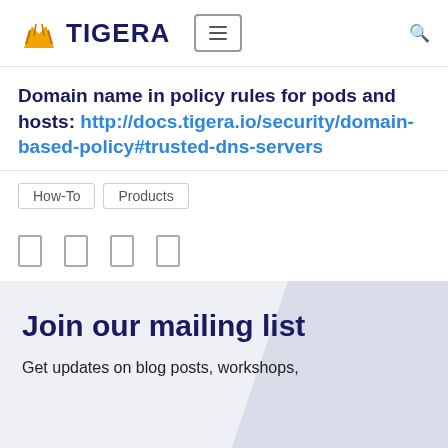[Figure (logo): Tigera logo with orange tiger icon and dark blue TIGERA text, followed by hamburger menu icon and search icon]
Domain name in policy rules for pods and hosts: http://docs.tigera.io/security/domain-based-policy#trusted-dns-servers
How-To
Products
[Figure (other): Four social media share icon boxes (outline rectangles)]
Join our mailing list
Get updates on blog posts, workshops,